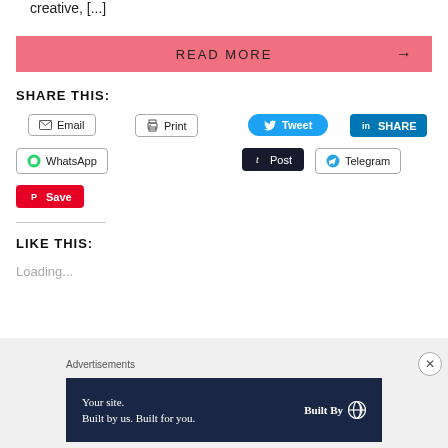creative, [...]
READ MORE →
SHARE THIS:
Email
Print
Tweet
in SHARE
WhatsApp
t Post
Telegram
Save
LIKE THIS:
Loading...
Advertisements
Your site. Built by us. Built for you. Built By